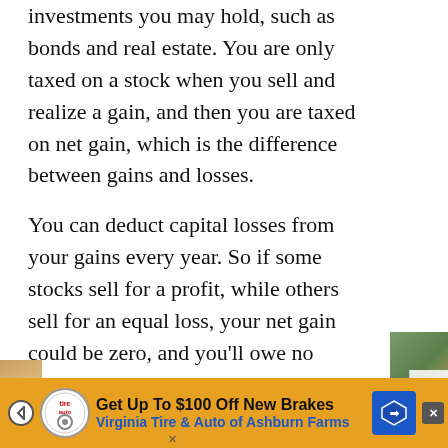investments you may hold, such as bonds and real estate. You are only taxed on a stock when you sell and realize a gain, and then you are taxed on net gain, which is the difference between gains and losses.
You can deduct capital losses from your gains every year. So if some stocks sell for a profit, while others sell for an equal loss, your net gain could be zero, and you'll owe no taxes on these stocks.
There are two types of capital gains tax that might apply to you: short-term and long-term capital gains tax. If you sell a stock you've held for less than a year for a profit, you realize a short-term capital gain
[Figure (other): Advertisement banner: Get Up To $100 Off New Brakes - Virginia Tire & Auto of Ashburn Farms, with logo and road sign icon, on orange/gold background]